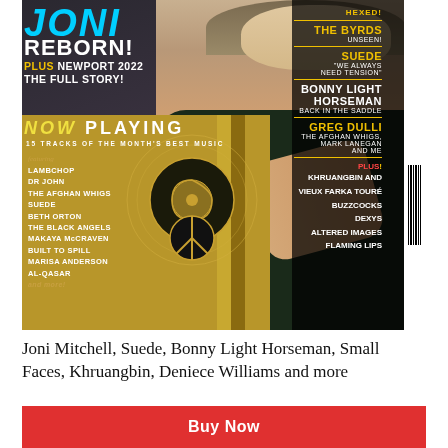[Figure (photo): Magazine cover of Uncut featuring Joni Mitchell with text overlays including NOW PLAYING section, track listing, and right-side artist features]
Joni Mitchell, Suede, Bonny Light Horseman, Small Faces, Khruangbin, Deniece Williams and more
Buy Now